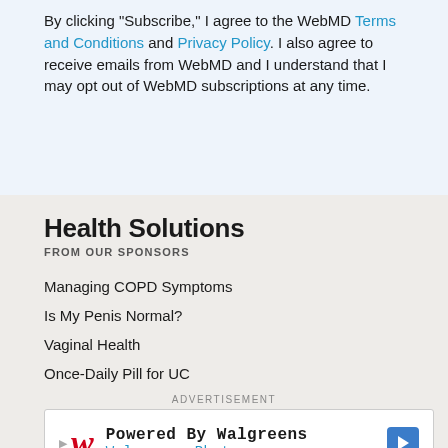By clicking "Subscribe," I agree to the WebMD Terms and Conditions and Privacy Policy. I also agree to receive emails from WebMD and I understand that I may opt out of WebMD subscriptions at any time.
Health Solutions
FROM OUR SPONSORS
Managing COPD Symptoms
Is My Penis Normal?
Vaginal Health
Once-Daily Pill for UC
ADVERTISEMENT
[Figure (other): Walgreens Photo advertisement banner with Walgreens logo and navigation arrow]